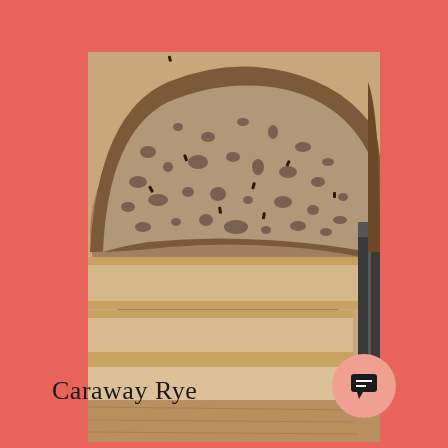[Figure (photo): Close-up photograph of sliced caraway rye bread on a wooden cutting board with a bread knife visible on the right side. The bread shows a porous crumb texture with dark spots (caraway seeds). Multiple slices are visible.]
Caraway Rye